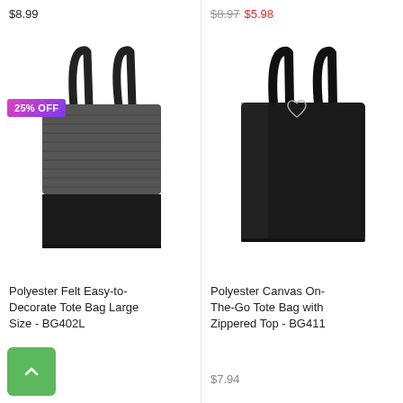$8.99
$8.97  $5.98
[Figure (photo): Polyester Felt Easy-to-Decorate Tote Bag Large Size BG402L, dark grey felt top and black bottom, with 25% OFF badge]
[Figure (photo): Polyester Canvas On-The-Go Tote Bag with Zippered Top BG411, all black canvas tote bag with heart/wishlist icon]
Polyester Felt Easy-to-Decorate Tote Bag Large Size - BG402L
Polyester Canvas On-The-Go Tote Bag with Zippered Top - BG411
$7.94